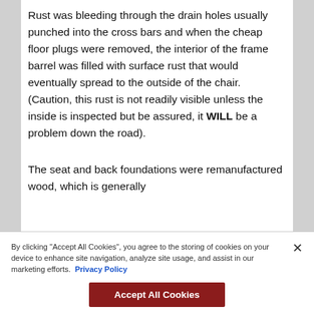Rust was bleeding through the drain holes usually punched into the cross bars and when the cheap floor plugs were removed, the interior of the frame barrel was filled with surface rust that would eventually spread to the outside of the chair. (Caution, this rust is not readily visible unless the inside is inspected but be assured, it WILL be a problem down the road).
The seat and back foundations were remanufactured wood, which is generally
By clicking "Accept All Cookies", you agree to the storing of cookies on your device to enhance site navigation, analyze site usage, and assist in our marketing efforts. Privacy Policy
Accept All Cookies